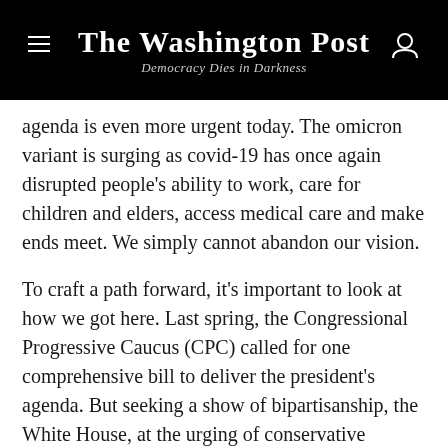The Washington Post — Democracy Dies in Darkness
agenda is even more urgent today. The omicron variant is surging as covid-19 has once again disrupted people's ability to work, care for children and elders, access medical care and make ends meet. We simply cannot abandon our vision.
To craft a path forward, it's important to look at how we got here. Last spring, the Congressional Progressive Caucus (CPC) called for one comprehensive bill to deliver the president's agenda. But seeking a show of bipartisanship, the White House, at the urging of conservative Democratic senators, split the legislation into two vehicles: what eventually became the Infrastructure Investment and Jobs Act and the Build